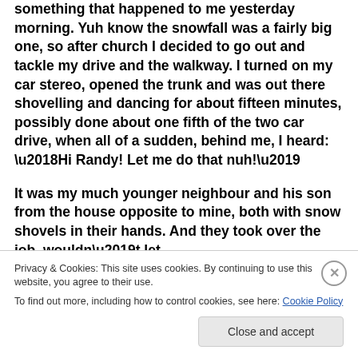something that happened to me yesterday morning. Yuh know the snowfall was a fairly big one, so after church I decided to go out and tackle my drive and the walkway. I turned on my car stereo, opened the trunk and was out there shovelling and dancing for about fifteen minutes, possibly done about one fifth of the two car drive, when all of a sudden, behind me, I heard: ‘Hi Randy! Let me do that nuh!’
It was my much younger neighbour and his son from the house opposite to mine, both with snow shovels in their hands. And they took over the job, wouldn’t let
Privacy & Cookies: This site uses cookies. By continuing to use this website, you agree to their use.
To find out more, including how to control cookies, see here: Cookie Policy